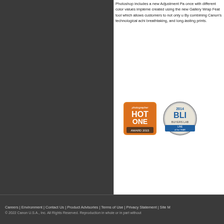Photoshop includes a new Adjustment Pa once with different color values implemen created using the new Gallery Wrap Feat tool which allows customers to not only u By combining Canon's technological achi breathtaking, and long-lasting prints.
[Figure (illustration): Photographer Hot One Award badge 2015 - orange square badge with hot one text]
[Figure (illustration): BLI Buyers Lab 2014 Line of the Year award badge - circular silver badge]
1. For imagePROGRAF Printer Driver. For printin please use a PostScript compatible RIP package. Alliance and Industry Market list of RIP vendors. 2. The maximum printable length varies dependin
Careers | Environment | Contact Us | Product Advisories | Terms of Use | Privacy Statement | Site M © 2022 Canon U.S.A., Inc. All Rights Reserved. Reproduction in whole or in part without